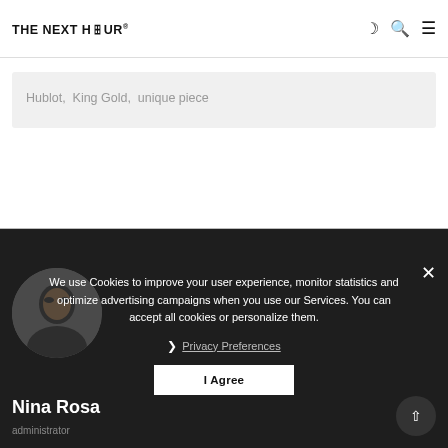THE NEXT HOUR®
Hublot,  King Gold,  unique piece
We use Cookies to improve your user experience, monitor statistics and optimize advertising campaigns when you use our Services. You can accept all cookies or personalize them.
❯ Privacy Preferences
I Agree
Nina Rosa
administrator